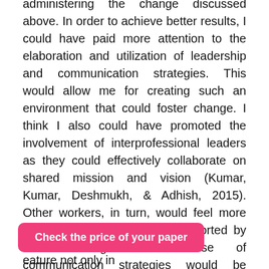administering the change discussed above. In order to achieve better results, I could have paid more attention to the elaboration and utilization of leadership and communication strategies. This would allow me for creating such an environment that could foster change. I think I also could have promoted the involvement of interprofessional leaders as they could effectively collaborate on shared mission and vision (Kumar, Kumar, Deshmukh, & Adhish, 2015). Other workers, in turn, would feel more positive about the change supported by their colleagues. The use of communication strategies would be helpful in sustaining the evidence-based practice of complementary therapies (Palmer, Dunford, & Buchanan, 2017). In this respect, I needed to explain the need for the change better and ensure that workers had the required skills to
Check the price of your paper
eature not only in